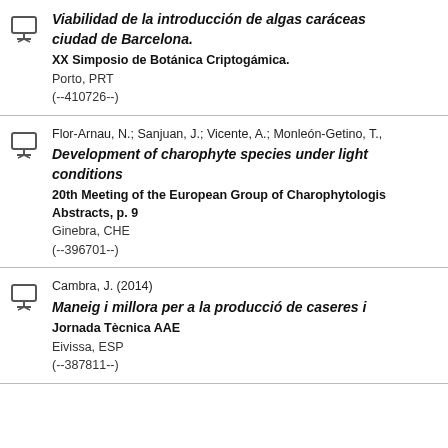Viabilidad de la introducción de algas caráceas ciudad de Barcelona. XX Simposio de Botánica Criptogámica. Porto, PRT (--410726--)
Flor-Arnau, N.; Sanjuan, J.; Vicente, A.; Monleón-Getino, T., Development of charophyte species under light conditions 20th Meeting of the European Group of Charophytologists Abstracts, p. 9 Ginebra, CHE (--396701--)
Cambra, J. (2014) Maneig i millora per a la producció de caseres i Jornada Tècnica AAE Eivissa, ESP (--387811--)